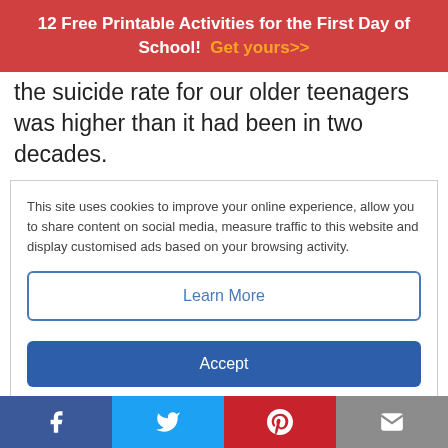12 Free Printable Activities for the First Day of School! Get yours>>
the suicide rate for our older teenagers was higher than it had been in two decades.
This site uses cookies to improve your online experience, allow you to share content on social media, measure traffic to this website and display customised ads based on your browsing activity.
Learn More
Accept
care.
Educators provide a critical
f  t  P  ✉